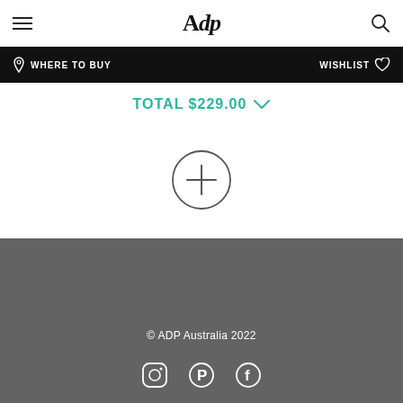Adp — WHERE TO BUY | WISHLIST
TOTAL $229.00
[Figure (other): Circle plus button icon]
© ADP Australia 2022
[Figure (other): Social media icons: Instagram, Pinterest, Facebook]